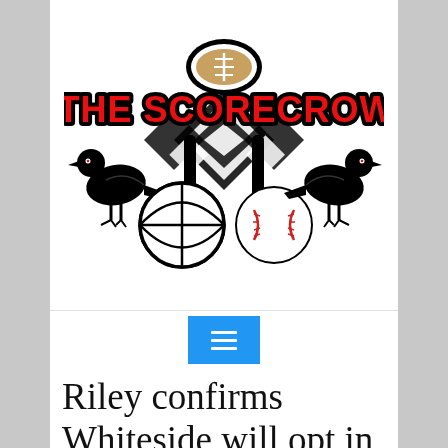[Figure (logo): The Scorecrow sports logo featuring two black crows, a football at the top, a basketball on the left, a baseball on the right, a hockey stick silhouette in the center background with a diamond argyle pattern, and bold red text reading 'THE SCORECROW' with black outline.]
[Figure (other): Blue hamburger menu button with three white horizontal lines (navigation bar element).]
Riley confirms Whiteside will opt in, adds center never